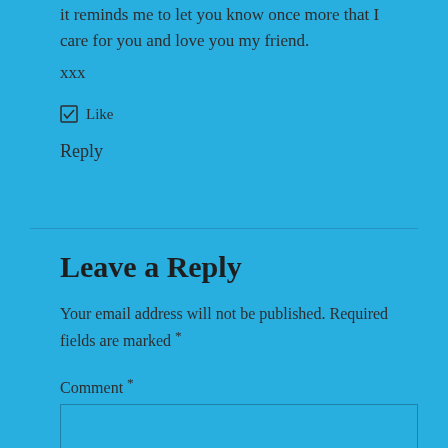it reminds me to let you know once more that I care for you and love you my friend.
xxx
Like
Reply
Leave a Reply
Your email address will not be published. Required fields are marked *
Comment *